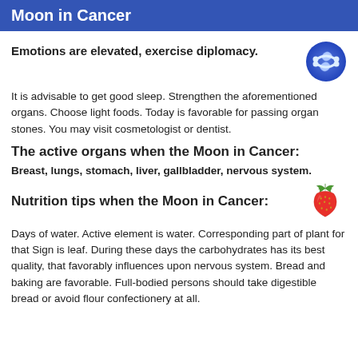Moon in Cancer
Emotions are elevated, exercise diplomacy.
It is advisable to get good sleep. Strengthen the aforementioned organs. Choose light foods. Today is favorable for passing organ stones. You may visit cosmetologist or dentist.
The active organs when the Moon in Cancer:
Breast, lungs, stomach, liver, gallbladder, nervous system.
Nutrition tips when the Moon in Cancer:
Days of water. Active element is water. Corresponding part of plant for that Sign is leaf. During these days the carbohydrates has its best quality, that favorably influences upon nervous system. Bread and baking are favorable. Full-bodied persons should take digestible bread or avoid flour confectionery at all.